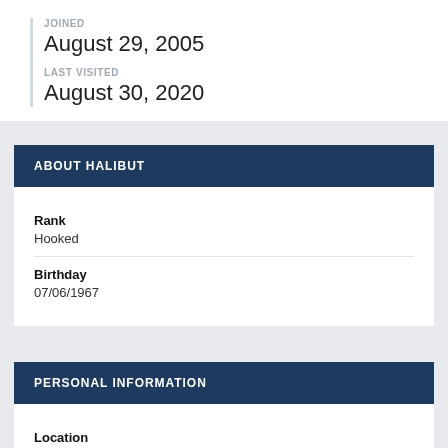JOINED
August 29, 2005
LAST VISITED
August 30, 2020
ABOUT HALIBUT
Rank
Hooked
Birthday
07/06/1967
PERSONAL INFORMATION
Location
Next to the woods
Interests
Music,reading,beer,cycling,poetry,walking,current affairs,fish,food and lots of other stuff too